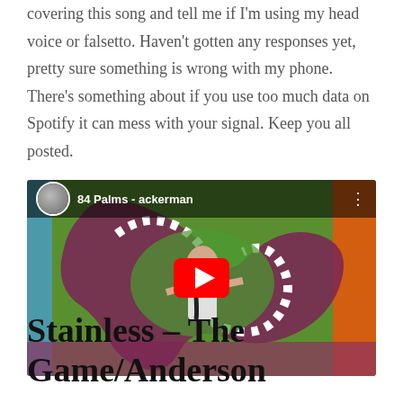covering this song and tell me if I'm using my head voice or falsetto. Haven't gotten any responses yet, pretty sure something is wrong with my phone. There's something about if you use too much data on Spotify it can mess with your signal. Keep you all posted.
[Figure (screenshot): YouTube video embed showing '84 Palms - ackerman' with a colorful artwork background of a person lying on a heart-shaped path/road illustration, with a red YouTube play button in the center.]
Stainless – The Game/Anderson